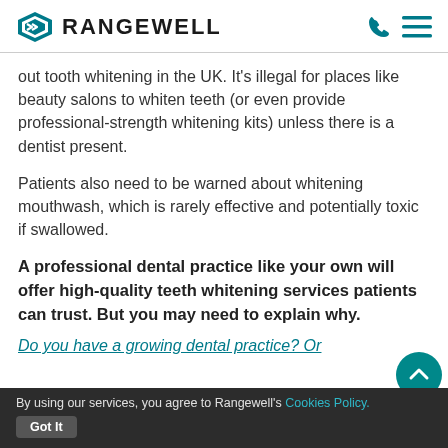RANGEWELL
out tooth whitening in the UK. It's illegal for places like beauty salons to whiten teeth (or even provide professional-strength whitening kits) unless there is a dentist present.
Patients also need to be warned about whitening mouthwash, which is rarely effective and potentially toxic if swallowed.
A professional dental practice like your own will offer high-quality teeth whitening services patients can trust. But you may need to explain why.
Do you have a growing dental practice? Or
By using our services, you agree to Rangewell's Cookies Policy. Got It